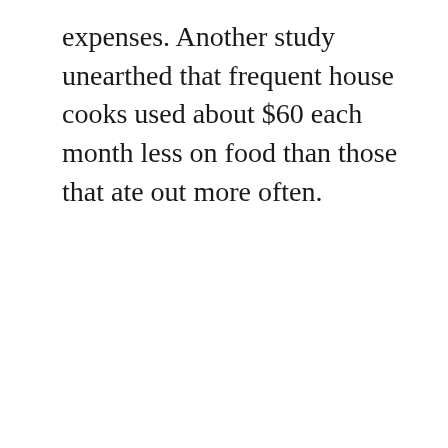expenses. Another study unearthed that frequent house cooks used about $60 each month less on food than those that ate out more often.